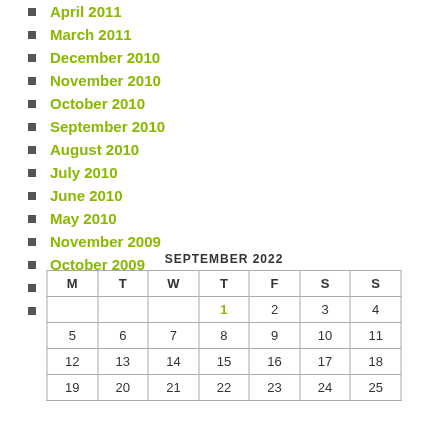April 2011
March 2011
December 2010
November 2010
October 2010
September 2010
August 2010
July 2010
June 2010
May 2010
November 2009
October 2009
September 2009
August 2009
| M | T | W | T | F | S | S |
| --- | --- | --- | --- | --- | --- | --- |
|  |  |  | 1 | 2 | 3 | 4 |
| 5 | 6 | 7 | 8 | 9 | 10 | 11 |
| 12 | 13 | 14 | 15 | 16 | 17 | 18 |
| 19 | 20 | 21 | 22 | 23 | 24 | 25 |